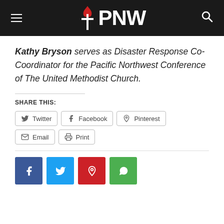PNW
Kathy Bryson serves as Disaster Response Co-Coordinator for the Pacific Northwest Conference of The United Methodist Church.
SHARE THIS:
Twitter
Facebook
Pinterest
Email
Print
[Figure (other): Social media icon buttons: Facebook (blue), Twitter (light blue), Pinterest (red), WhatsApp (green)]